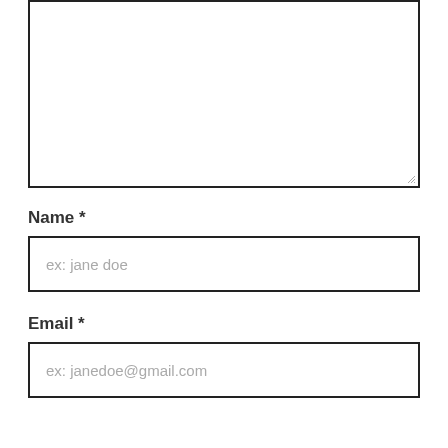[Figure (other): Large empty textarea input box with resize handle at bottom-right]
Name *
[Figure (other): Text input field with placeholder text 'ex: jane doe']
Email *
[Figure (other): Text input field with placeholder text 'ex: janedoe@gmail.com']